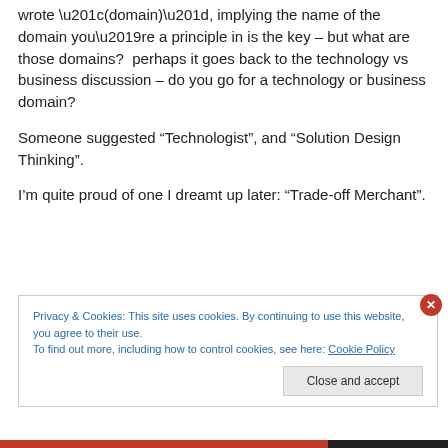wrote “(domain)”, implying the name of the domain you’re a principle in is the key – but what are those domains? perhaps it goes back to the technology vs business discussion – do you go for a technology or business domain?
Someone suggested “Technologist”, and “Solution Design Thinking”.
I’m quite proud of one I dreamt up later: “Trade-off Merchant”.
Privacy & Cookies: This site uses cookies. By continuing to use this website, you agree to their use.
To find out more, including how to control cookies, see here: Cookie Policy